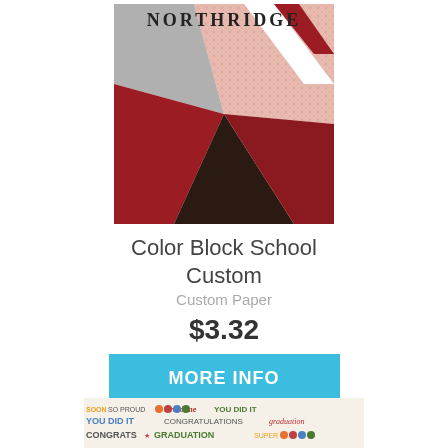[Figure (illustration): Geometric color block design with triangles in red, gray, pink/salmon, dark brown/black and white, with 'NORTHRIDGE' text at top in bold black serif font]
Color Block School Custom
Custom Paper
$3.32
MORE INFO
[Figure (illustration): Partial view of a colorful graduation-themed design with text including 'SO PROUD', 'YOU DID IT', 'CONGRATULATIONS', 'graduation', 'CONGRATS', 'GRADUATION', 'SUPER' in various colors]